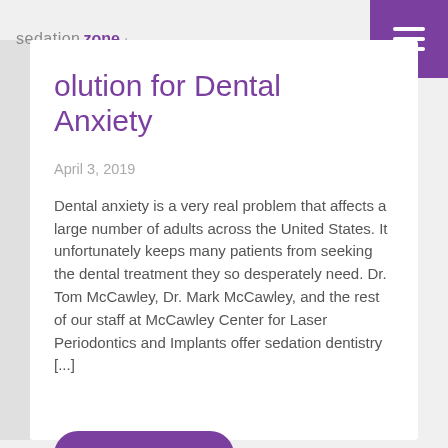sedation zone
Solution for Dental Anxiety
April 3, 2019
Dental anxiety is a very real problem that affects a large number of adults across the United States. It unfortunately keeps many patients from seeking the dental treatment they so desperately need. Dr. Tom McCawley, Dr. Mark McCawley, and the rest of our staff at McCawley Center for Laser Periodontics and Implants offer sedation dentistry [...]
READ MORE